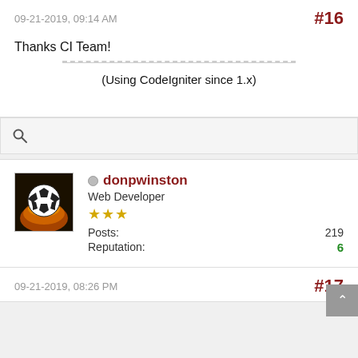09-21-2019, 09:14 AM
#16
Thanks CI Team!
(Using CodeIgniter since 1.x)
[Figure (screenshot): Search bar with magnifying glass icon]
[Figure (photo): Soccer ball avatar image with fire background]
donpwinston
Web Developer
★★★
Posts: 219
Reputation: 6
09-21-2019, 08:26 PM
#17